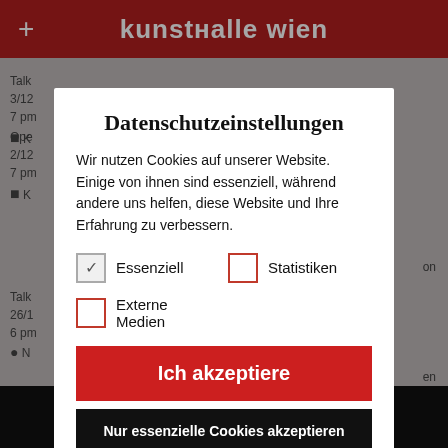kunsthalle wien
Datenschutzeinstellungen
Wir nutzen Cookies auf unserer Website. Einige von ihnen sind essenziell, während andere uns helfen, diese Website und Ihre Erfahrung zu verbessern.
Essenziell
Statistiken
Externe Medien
Ich akzeptiere
Nur essenzielle Cookies akzeptieren
Individuelle Datenschutzeinstellungen
Cookie-Details | Datenschutzerklärung | Impressum
PRESS   NEWSLETTER   IMPRINT   PRIVACY